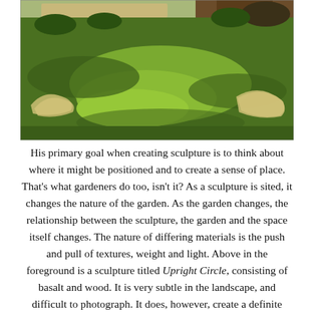[Figure (photo): Photograph of a green grassy garden landscape with dappled sunlight and shadows. Two pale curved sculptural elements (basalt and wood) are visible in the foreground on either side of the lawn, partially hidden in the grass. Trees and shrubs are visible in the background.]
His primary goal when creating sculpture is to think about where it might be positioned and to create a sense of place. That's what gardeners do too, isn't it? As a sculpture is sited, it changes the nature of the garden. As the garden changes, the relationship between the sculpture, the garden and the space itself changes. The nature of differing materials is the push and pull of textures, weight and light. Above in the foreground is a sculpture titled Upright Circle, consisting of basalt and wood. It is very subtle in the landscape, and difficult to photograph. It does, however, create a definite sense of space and somehow changes its surroundings.